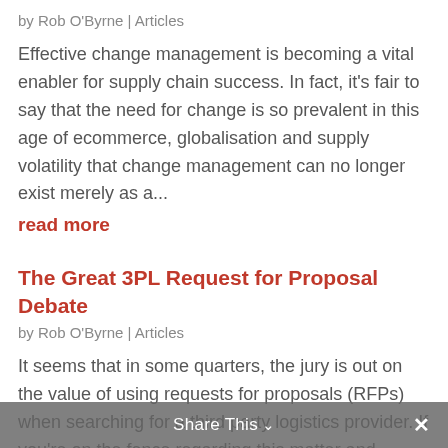by Rob O'Byrne | Articles
Effective change management is becoming a vital enabler for supply chain success. In fact, it's fair to say that the need for change is so prevalent in this age of ecommerce, globalisation and supply volatility that change management can no longer exist merely as a...
read more
The Great 3PL Request for Proposal Debate
by Rob O'Byrne | Articles
It seems that in some quarters, the jury is out on the value of using requests for proposals (RFPs) when searching for a third party logistics provider. If you're on the fence regarding this matter and planning to engage a 3PL (or
Share This